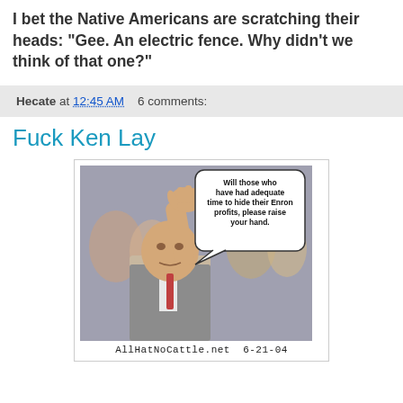I bet the Native Americans are scratching their heads: "Gee. An electric fence. Why didn't we think of that one?"
Hecate at 12:45 AM   6 comments:
Fuck Ken Lay
[Figure (illustration): Political cartoon/photo of a man with hand raised, with speech bubble reading 'Will those who have had adequate time to hide their Enron profits, please raise your hand.' Caption: AllHatNoCattle.net 6-21-04]